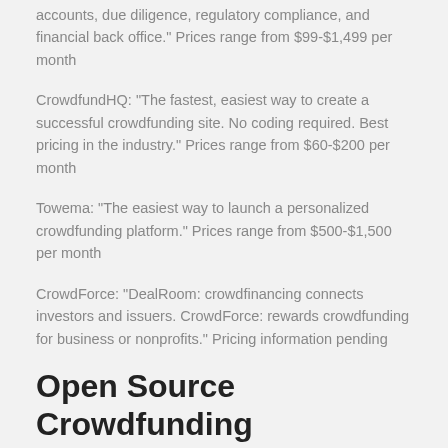accounts, due diligence, regulatory compliance, and financial back office." Prices range from $99-$1,499 per month
CrowdfundHQ: "The fastest, easiest way to create a successful crowdfunding site. No coding required. Best pricing in the industry." Prices range from $60-$200 per month
Towema: "The easiest way to launch a personalized crowdfunding platform." Prices range from $500-$1,500 per month
CrowdForce: "DealRoom: crowdfinancing connects investors and issuers. CrowdForce: rewards crowdfunding for business or nonprofits." Pricing information pending
Open Source Crowdfunding Platforms
Catarse: Catarse is an open source –